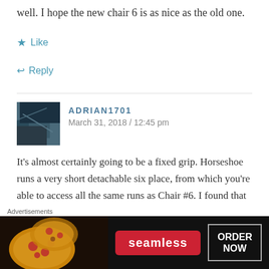well. I hope the new chair 6 is as nice as the old one.
Like
Reply
ADRIAN1701
March 31, 2018 / 12:45 pm
It’s almost certainly going to be a fixed grip. Horseshoe runs a very short detachable six place, from which you’re able to access all the same runs as Chair #6. I found that there was no difference between when Chair 6 ran, and when it didn’t, only that it was a longer trip back to the detachable from
Advertisements
[Figure (screenshot): Seamless food delivery advertisement banner with pizza image on left, seamless red badge in center, and ORDER NOW button on right]